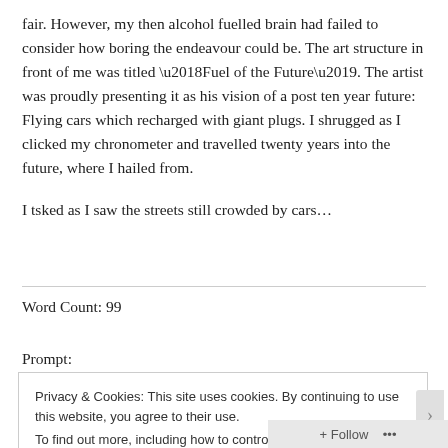fair. However, my then alcohol fuelled brain had failed to consider how boring the endeavour could be. The art structure in front of me was titled ‘Fuel of the Future’. The artist was proudly presenting it as his vision of a post ten year future: Flying cars which recharged with giant plugs. I shrugged as I clicked my chronometer and travelled twenty years into the future, where I hailed from.
I tsked as I saw the streets still crowded by cars…
Word Count: 99
Prompt:
Privacy & Cookies: This site uses cookies. By continuing to use this website, you agree to their use.
To find out more, including how to control cookies, see here: Cookie Policy
Close and accept